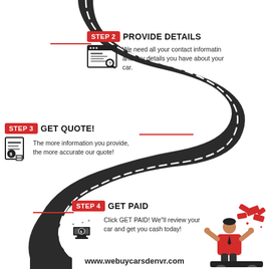[Figure (infographic): Winding road infographic showing steps 2, 3, and 4 for selling a car. Step 2: Provide Details - with browser/form icon. Step 3: Get Quote! - with money/document icon. Step 4: Get Paid - with cash register icon and illustration of person with flying cash. Red line decorators connect labels to the road. Website URL at bottom.]
www.webuycarsdenvr.com